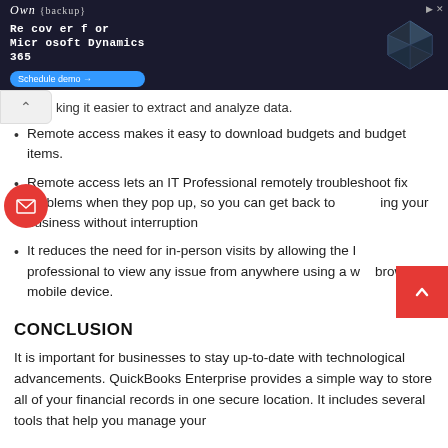[Figure (other): Advertisement banner for Own {backup} - Recover for Microsoft Dynamics 365 with Schedule demo button and a 3D geometric icon on dark background]
king it easier to extract and analyze data.
Remote access makes it easy to download budgets and budget items.
Remote access lets an IT Professional remotely troubleshoot fix problems when they pop up, so you can get back to ing your business without interruption
It reduces the need for in-person visits by allowing the I professional to view any issue from anywhere using a w browser or mobile device.
CONCLUSION
It is important for businesses to stay up-to-date with technological advancements. QuickBooks Enterprise provides a simple way to store all of your financial records in one secure location. It includes several tools that help you manage your